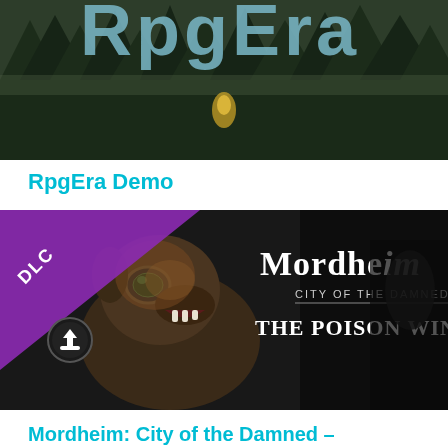[Figure (screenshot): Game cover image for RpgEra Demo showing dark forest scene with stylized logo text partially visible at top]
RpgEra Demo
[Figure (screenshot): Game cover image for Mordheim: City of the Damned – Globadier DLC showing a creature character and the game title text with purple DLC banner in top-left corner]
Mordheim: City of the Damned – Globadier